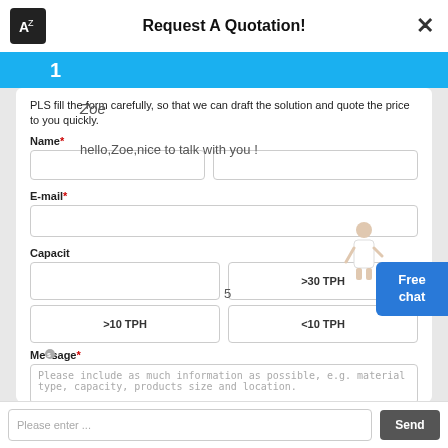Request A Quotation!
1
Zoe
PLS fill the form carefully, so that we can draft the solution and quote the price to you quickly.
hello,Zoe,nice to talk with you !
Free chat
Name*
5
E-mail*
Capacit
>30 TPH
>10 TPH
<10 TPH
Message*
Please include as much information as possible, e.g. material type, capacity, products size and location.
Please enter ...
Send